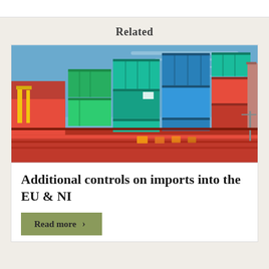Related
[Figure (photo): Cargo ship loaded with colorful stacked shipping containers (red, green, blue, teal) against a blue sky at a port.]
Additional controls on imports into the EU & NI
Read more >